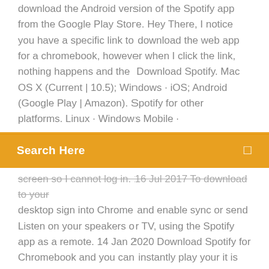download the Android version of the Spotify app from the Google Play Store. Hey There, I notice you have a specific link to download the web app for a chromebook, however when I click the link, nothing happens and the  Download Spotify. Mac OS X (Current | 10.5); Windows · iOS; Android (Google Play | Amazon). Spotify for other platforms. Linux · Windows Mobile ·
Search Here
screen so I cannot log in. 16 Jul 2017 To download to your desktop sign into Chrome and enable sync or send Listen on your speakers or TV, using the Spotify app as a remote. 14 Jan 2020 Download Spotify for Chromebook and you can instantly play your it is now possible to run Android apps on Chrome OS devices including
Chrome OS can officially run Android apps now, so here are the most compatible, best Android apps for Chromebooks. Happy downloading!